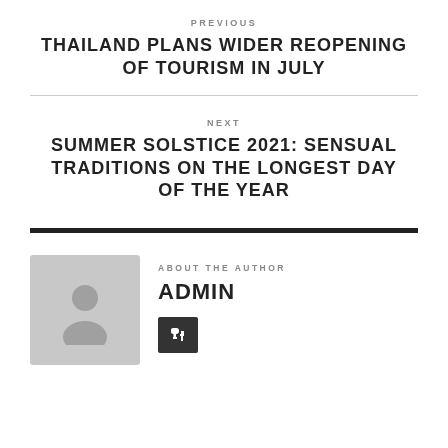PREVIOUS
THAILAND PLANS WIDER REOPENING OF TOURISM IN JULY
NEXT
SUMMER SOLSTICE 2021: SENSUAL TRADITIONS ON THE LONGEST DAY OF THE YEAR
ABOUT THE AUTHOR
ADMIN
[Figure (illustration): Default author avatar placeholder: gray background with a silhouette of a person]